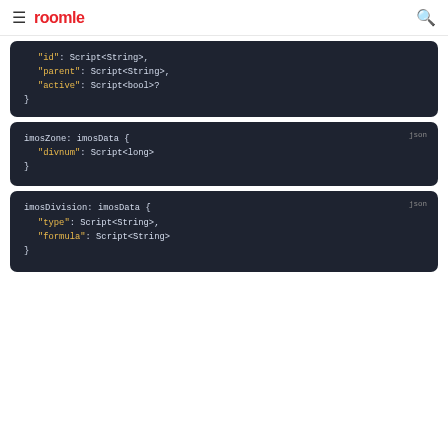≡ roomle 🔍
"id": Script<String>,
"parent": Script<String>,
"active": Script<bool>?
}
json
imosZone: imosData {
    "divnum": Script<long>
}
json
imosDivision: imosData {
    "type": Script<String>,
    "formula": Script<String>
}